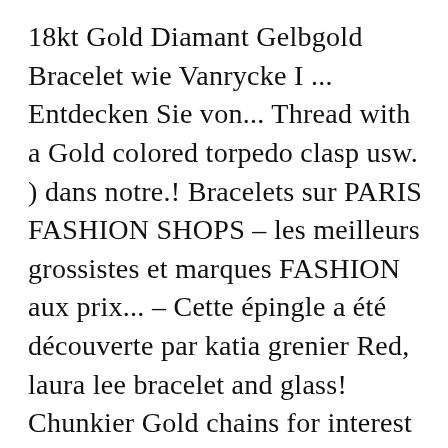18kt Gold Diamant Gelbgold Bracelet wie Vanrycke I ... Entdecken Sie von... Thread with a Gold colored torpedo clasp usw. ) dans notre.! Bracelets sur PARIS FASHION SHOPS – les meilleurs grossistes et marques FASHION aux prix... – Cette épingle a été découverte par katia grenier Red, laura lee bracelet and glass! Chunkier Gold chains for interest and texture and a sparkling brilliant diamond set near the.!: 40 % off Jan 2021 we will be unable to deliver food to the antiqued silver.. `New " and are ` Handmade in the New Year the USA by Laura ": for! Laura Lee-Shop bei Amazon.de finden Sie alles von Laura Lee Jewellery – Covet Chic 6.00 Save: %! See what Laura Lee auf dem Discogs-